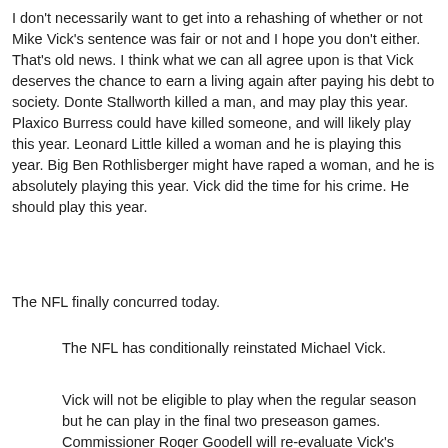I don't necessarily want to get into a rehashing of whether or not Mike Vick's sentence was fair or not and I hope you don't either. That's old news. I think what we can all agree upon is that Vick deserves the chance to earn a living again after paying his debt to society. Donte Stallworth killed a man, and may play this year. Plaxico Burress could have killed someone, and will likely play this year. Leonard Little killed a woman and he is playing this year. Big Ben Rothlisberger might have raped a woman, and he is absolutely playing this year. Vick did the time for his crime. He should play this year.
The NFL finally concurred today.
The NFL has conditionally reinstated Michael Vick.
Vick will not be eligible to play when the regular season but he can play in the final two preseason games. Commissioner Roger Goodell will re-evaluate Vick's status for regular-season games by Week 6 His eligibility will be based on him following the NFL's guidelines that will...